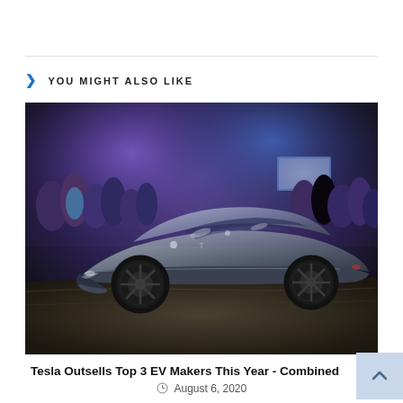YOU MIGHT ALSO LIKE
[Figure (photo): A Tesla Roadster electric sports car in matte grey displayed on a sandy surface at a reveal event, with a crowd of people in the background under purple and blue lighting.]
Tesla Outsells Top 3 EV Makers This Year - Combined
August 6, 2020